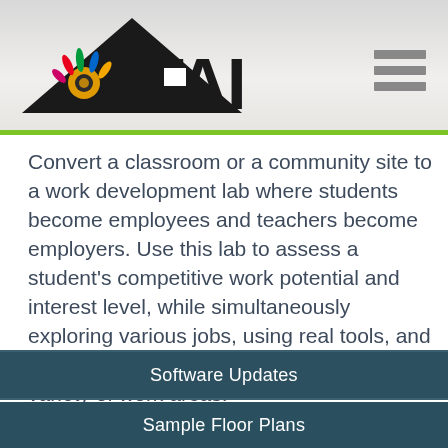[Figure (logo): Talent Assessment, Inc. (TAI) logo with colorful hand/spiral graphic inside a black triangle, bold TAI text, and 'TALENT ASSESSMENT, INC' text below]
Convert a classroom or a community site to a work development lab where students become employees and teachers become employers. Use this lab to assess a student's competitive work potential and interest level, while simultaneously exploring various jobs, using real tools, and developing proper work behaviors in a variety of work areas.
Software Updates
Sample Floor Plans